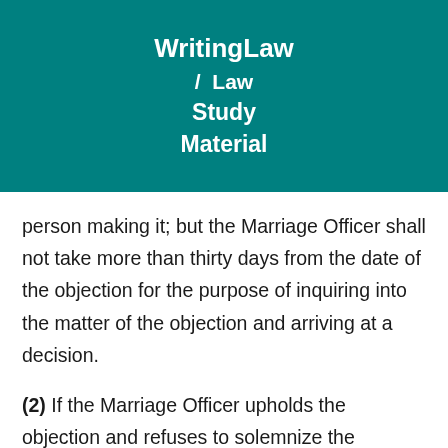WritingLaw / Law Study Material
person making it; but the Marriage Officer shall not take more than thirty days from the date of the objection for the purpose of inquiring into the matter of the objection and arriving at a decision.
(2) If the Marriage Officer upholds the objection and refuses to solemnize the marriage, either party to